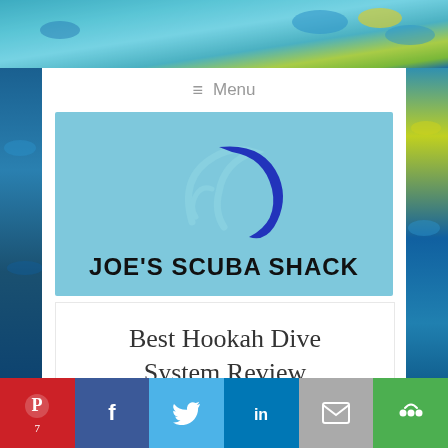[Figure (photo): Underwater ocean background with colorful fish and coral reef]
≡ Menu
[Figure (logo): Joe's Scuba Shack logo — wave/crescent icon in dark blue and light blue on light blue background with brand name in bold black text]
Best Hookah Dive System Review
[Figure (infographic): Social sharing bar with Pinterest (7), Facebook, Twitter, LinkedIn, Email, and More buttons]